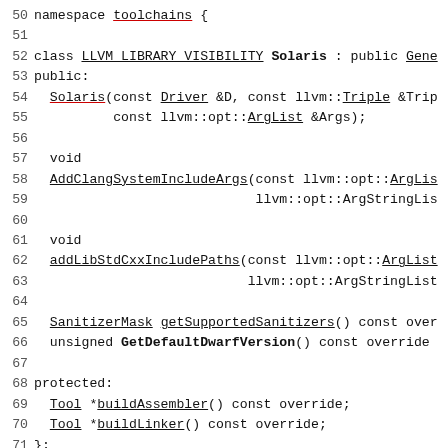[Figure (screenshot): Source code listing showing C++ class declaration for Solaris toolchain in LLVM/Clang, lines 50-77, monospace font with red underlines on identifiers and bold on some keywords.]